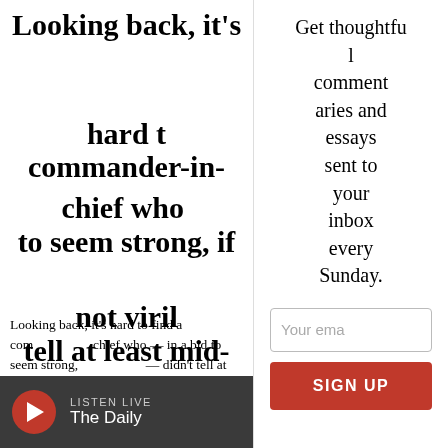Looking back, it's hard to find a commander-in-chief who — in a bid to seem strong, if not virile — didn't tell at least mid-sized whoppers
Looking back, it's hard to find a commander-in-chief who — in a bid to seem strong, if not virile — didn't tell at least mid-sized whoppers. But there are two other cases of high-level lying that are lesser-known and more of a precedent to our current fibber-in-chief.
Get thoughtful commentaries and essays sent to your inbox every Sunday.
Your email
SIGN UP
LISTEN LIVE
The Daily